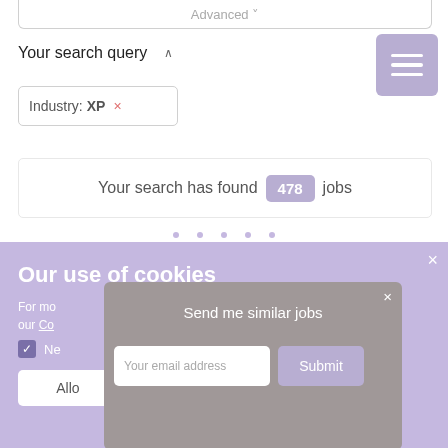Advanced ˅
Your search query ∧
Industry: XP ×
Your search has found 478 jobs
Our use of cookies
For more information, see our Cookie Policy
Necessary
Allow
Send me similar jobs
Your email address
Submit